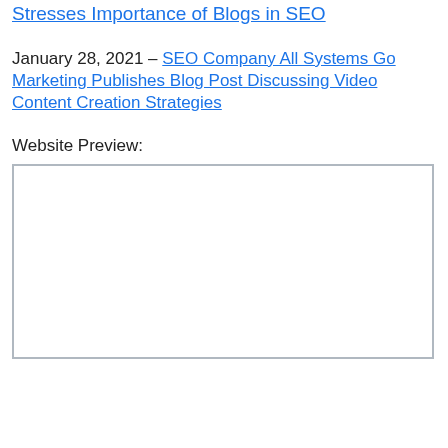Stresses Importance of Blogs in SEO
January 28, 2021 – SEO Company All Systems Go Marketing Publishes Blog Post Discussing Video Content Creation Strategies
Website Preview:
[Figure (screenshot): Empty white website preview box with a gray border]